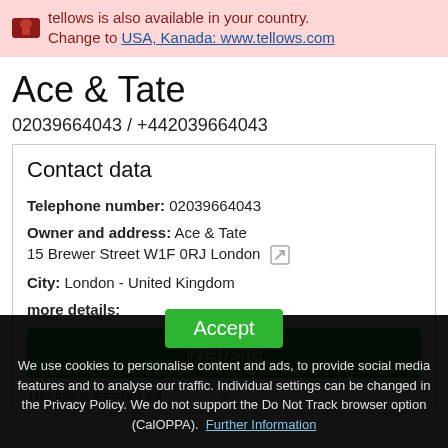tellows is also available in your country. Change to USA, Kanada: www.tellows.com
Ace & Tate
02039664043 / +442039664043
Contact data
Telephone number: 02039664043
Owner and address: Ace & Tate 15 Brewer Street W1F 0RJ London
City: London - United Kingdom
more details:
Website
This info is supplied wi... y.
Accept
We use cookies to personalise content and ads, to provide social media features and to analyse our traffic. Individual settings can be changed in the Privacy Policy. We do not support the Do Not Track browser option (CalOPPA). Further Information